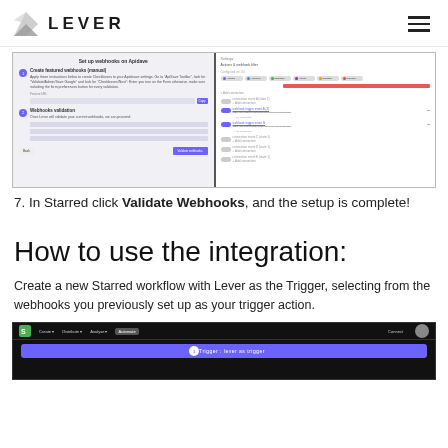LEVER
[Figure (screenshot): Two-panel screenshot showing Lever webhook setup on the left (with steps for creating webhooks and webhook validation) and Starred webhook configuration on the right (with toggle switches for active webhooks and filter options).]
7. In Starred click Validate Webhooks, and the setup is complete!
How to use the integration:
Create a new Starred workflow with Lever as the Trigger, selecting from the webhooks you previously set up as your trigger action.
[Figure (screenshot): Bottom screenshot showing Starred automation interface with dark navigation bar (Create, Distribute, Analyse, Automate tabs) and a purple trigger bar labeled 'Trigger: lever as trigger'.]